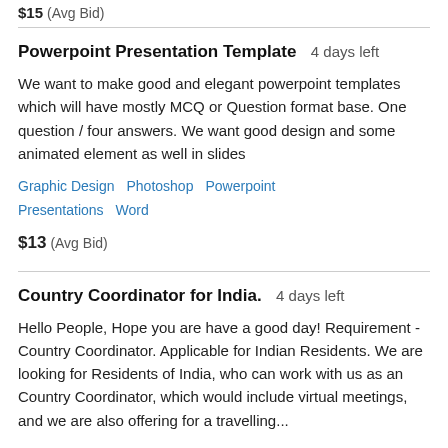$15  (Avg Bid)
Powerpoint Presentation Template   4 days left
We want to make good and elegant powerpoint templates which will have mostly MCQ or Question format base. One question / four answers. We want good design and some animated element as well in slides
Graphic Design   Photoshop   Powerpoint   Presentations   Word
$13  (Avg Bid)
Country Coordinator for India.   4 days left
Hello People, Hope you are have a good day! Requirement - Country Coordinator. Applicable for Indian Residents. We are looking for Residents of India, who can work with us as an Country Coordinator, which would include virtual meetings, and we are also offering for a travelling...